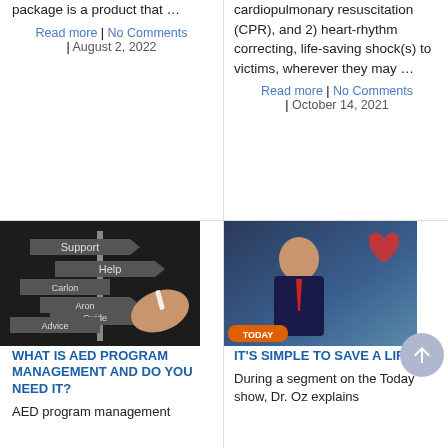package is a product that …
Read more | No Comments | August 2, 2022
cardiopulmonary resuscitation (CPR), and 2) heart-rhythm correcting, life-saving shock(s) to victims, wherever they may …
Read more | No Comments | October 14, 2021
[Figure (photo): Hand pointing at a chalkboard signpost with words: Support, Help, Carlon, Aron, Guide, Advice]
WHAT IS AED PROGRAM MANAGEMENT AND DO YOU NEED IT?
AED program management
[Figure (photo): Today show segment with Dr. Oz explaining heart health, featuring a heart graphic and TODAY logo]
IT'S SIMPLE TO SAVE A LIFE!
During a segment on the Today show, Dr. Oz explains